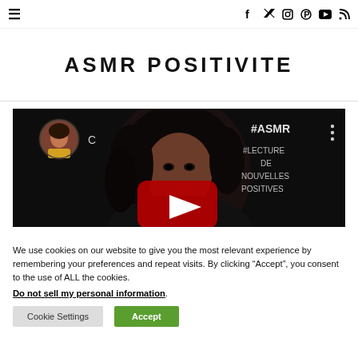≡  f  𝕏  ◎  ⊕  ▶  ⌇
ASMR POSITIVITE
[Figure (screenshot): YouTube video thumbnail showing a woman with curly hair against a dark background. Text overlays read '#ASMR' and '#LECTURE DE NOUVELLES POSITIVES'. A YouTube play button is visible in the center. A small circular profile avatar is in the top-left with letter 'C'.]
We use cookies on our website to give you the most relevant experience by remembering your preferences and repeat visits. By clicking “Accept”, you consent to the use of ALL the cookies.
Do not sell my personal information.
Cookie Settings   Accept